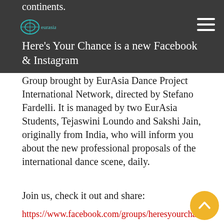continents.
[Figure (logo): EurAsia logo in teal/green colors]
Here’s Your Chance is a new Facebook & Instagram Group brought by EurAsia Dance Project International Network, directed by Stefano Fardelli. It is managed by two EurAsia Students, Tejaswini Loundo and Sakshi Jain, originally from India, who will inform you about the new professional proposals of the international dance scene, daily.
Join us, check it out and share:
https://www.facebook.com/groups/heresyourchance/
https://www.instagram.com/hyc.eurasia/
Here’s Your Chance is a professional online platf... for all dance enthusiasts to stay connected and have